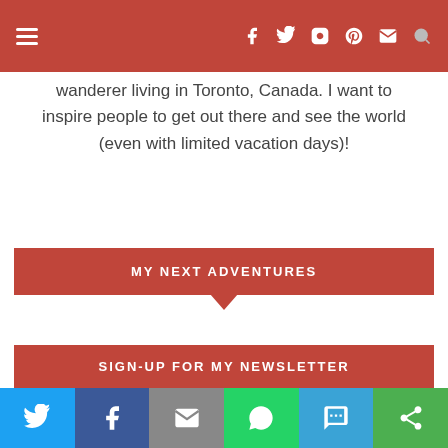Navigation bar with hamburger menu and social icons
wanderer living in Toronto, Canada. I want to inspire people to get out there and see the world (even with limited vacation days)!
MY NEXT ADVENTURES
August: Montreal, QC
July: Glamping in Orono, ON
September: Kawartha Lakes, ON
September: Germany & Italy
SIGN-UP FOR MY NEWSLETTER
Share bar: Twitter, Facebook, Email, WhatsApp, SMS, Other